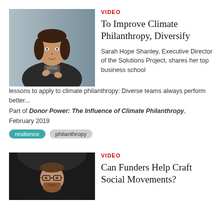[Figure (photo): Woman with dark hair speaking at a podium or event, wearing a dark jacket, gray/blue background]
VIDEO
To Improve Climate Philanthropy, Diversify
Sarah Hope Shanley, Executive Director of the Solutions Project, shares her top business school lessons to apply to climate philanthropy: Diverse teams always perform better...
Part of Donor Power: The Influence of Climate Philanthropy,
February 2019
resilience
philanthropy
[Figure (photo): Man with beard and glasses, dark background, looking slightly downward]
VIDEO
Can Funders Help Craft Social Movements?